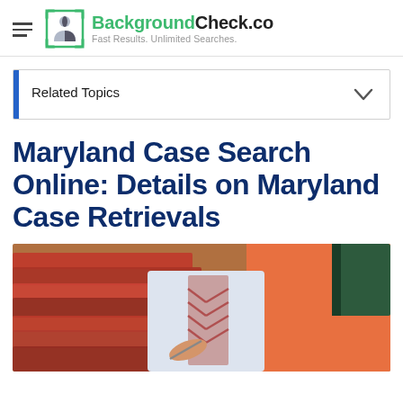BackgroundCheck.co — Fast Results. Unlimited Searches.
Related Topics
Maryland Case Search Online: Details on Maryland Case Retrievals
[Figure (photo): Person in a red/orange jacket writing with a pen on documents, with stacked red folders visible]